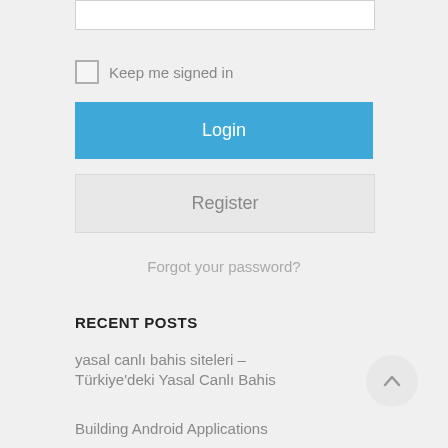[Figure (screenshot): Input text box (password or username field), partially visible at top]
Keep me signed in
Login
Register
Forgot your password?
RECENT POSTS
yasal canlı bahis siteleri – Türkiye'deki Yasal Canlı Bahis
Building Android Applications